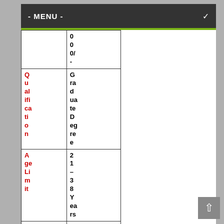- MENU -
|  |  |
| --- | --- |
|  | 000/- |
| Qualification | Graduate Degree |
| Age Limit | 21 – 38 Years |
| Applic | General |